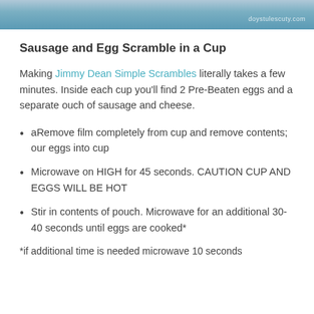[Figure (photo): Cropped photo strip at top of page, showing a person in blue denim clothing with a watermark 'doystulescuty.com' visible in the top right corner.]
Sausage and Egg Scramble in a Cup
Making Jimmy Dean Simple Scrambles literally takes a few minutes. Inside each cup you'll find 2 Pre-Beaten eggs and a separate ouch of sausage and cheese.
aRemove film completely from cup and remove contents; our eggs into cup
Microwave on HIGH for 45 seconds. CAUTION CUP AND EGGS WILL BE HOT
Stir in contents of pouch. Microwave for an additional 30-40 seconds until eggs are cooked*
*if additional time is needed microwave 10 seconds